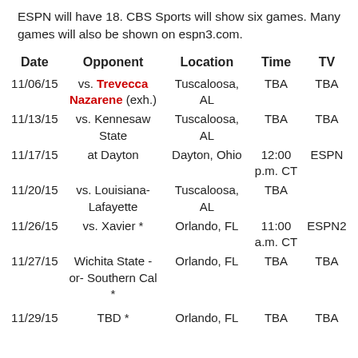ESPN will have 18. CBS Sports will show six games. Many games will also be shown on espn3.com.
| Date | Opponent | Location | Time | TV |
| --- | --- | --- | --- | --- |
| 11/06/15 | vs. Trevecca Nazarene (exh.) | Tuscaloosa, AL | TBA | TBA |
| 11/13/15 | vs. Kennesaw State | Tuscaloosa, AL | TBA | TBA |
| 11/17/15 | at Dayton | Dayton, Ohio | 12:00 p.m. CT | ESPN |
| 11/20/15 | vs. Louisiana-Lafayette | Tuscaloosa, AL | TBA |  |
| 11/26/15 | vs. Xavier * | Orlando, FL | 11:00 a.m. CT | ESPN2 |
| 11/27/15 | Wichita State -or- Southern Cal * | Orlando, FL | TBA | TBA |
| 11/29/15 | TBD * | Orlando, FL | TBA | TBA |